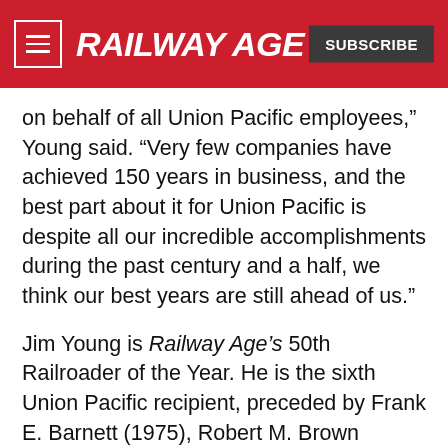RAILWAY AGE | SUBSCRIBE
on behalf of all Union Pacific employees,” Young said. “Very few companies have achieved 150 years in business, and the best part about it for Union Pacific is despite all our incredible accomplishments during the past century and a half, we think our best years are still ahead of us.”
Jim Young is Railway Age’s 50th Railroader of the Year. He is the sixth Union Pacific recipient, preceded by Frank E. Barnett (1975), Robert M. Brown (1978), Mike Walsh (1991), Richard K. Davidson (2003), and William E. Wimmer (2007). Modern Railroads magazine founded the award, one of the most prestigious in the railroad industry, in